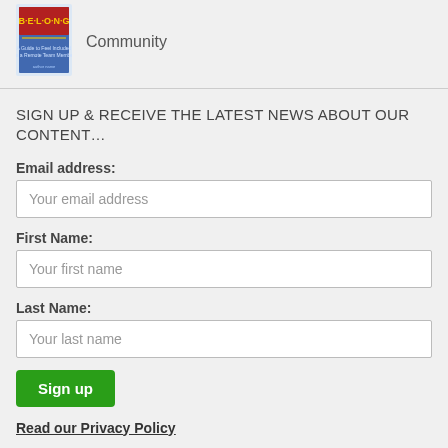[Figure (illustration): Book cover thumbnail showing a red/blue book with 'BELONG' text and colorful lettering]
Community
SIGN UP & RECEIVE THE LATEST NEWS ABOUT OUR CONTENT…
Email address:
Your email address
First Name:
Your first name
Last Name:
Your last name
Sign up
Read our Privacy Policy